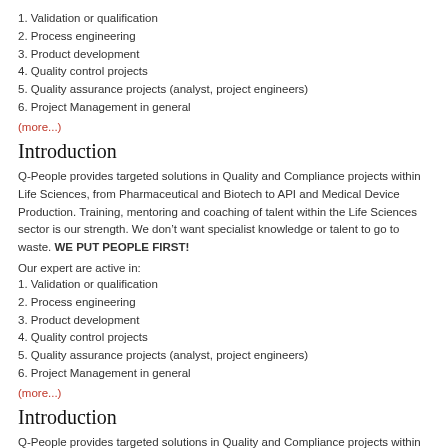1. Validation or qualification
2. Process engineering
3. Product development
4. Quality control projects
5. Quality assurance projects (analyst, project engineers)
6. Project Management in general
(more...)
Introduction
Q-People provides targeted solutions in Quality and Compliance projects within Life Sciences, from Pharmaceutical and Biotech to API and Medical Device Production. Training, mentoring and coaching of talent within the Life Sciences sector is our strength. We don't want specialist knowledge or talent to go to waste. WE PUT PEOPLE FIRST!
Our expert are active in:
1. Validation or qualification
2. Process engineering
3. Product development
4. Quality control projects
5. Quality assurance projects (analyst, project engineers)
6. Project Management in general
(more...)
Introduction
Q-People provides targeted solutions in Quality and Compliance projects within Life Sciences, from Pharmaceutical and Biotech to API and Medical Device Production. Training, mentoring and coaching of talent within the Life Sciences sector is our strength. We don't want specialist knowledge or talent to go to waste. WE PUT PEOPLE FIRST!
Our expert are active in: